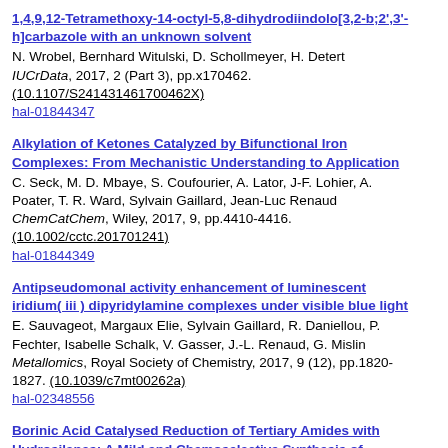1,4,9,12-Tetramethoxy-14-octyl-5,8-dihydrodiindolo[3,2-b;2',3'-h]carbazole with an unknown solvent
N. Wrobel, Bernhard Witulski, D. Schollmeyer, H. Detert
IUCrData, 2017, 2 (Part 3), pp.x170462.
(10.1107/S241431461700462X)
hal-01844347
Alkylation of Ketones Catalyzed by Bifunctional Iron Complexes: From Mechanistic Understanding to Application
C. Seck, M. D. Mbaye, S. Coufourier, A. Lator, J-F. Lohier, A. Poater, T. R. Ward, Sylvain Gaillard, Jean-Luc Renaud
ChemCatChem, Wiley, 2017, 9, pp.4410-4416.
(10.1002/cctc.201701241)
hal-01844349
Antipseudomonal activity enhancement of luminescent iridium( iii ) dipyridylamine complexes under visible blue light
E. Sauvageot, Margaux Elie, Sylvain Gaillard, R. Daniellou, P. Fechter, Isabelle Schalk, V. Gasser, J.-L. Renaud, G. Mislin
Metallomics, Royal Society of Chemistry, 2017, 9 (12), pp.1820-1827. (10.1039/c7mt00262a)
hal-02348556
Borinic Acid Catalysed Reduction of Tertiary Amides with Hydrosilanes: A Mild and Chemoselective Synthesis of Amines
Aurélien Chardon, Tharwat Mohy el dine, Rémi Legay, Michaël de